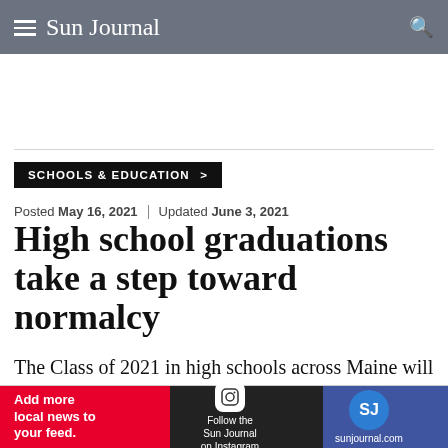Sun Journal
SCHOOLS & EDUCATION >
Posted May 16, 2021 | Updated June 3, 2021
High school graduations take a step toward normalcy
The Class of 2021 in high schools across Maine will graduate next month in ceremonies that will feel
[Figure (other): Advertisement banner: Add more local news to your feed. Follow the Sun Journal on Instagram. sunjournal.com logo.]